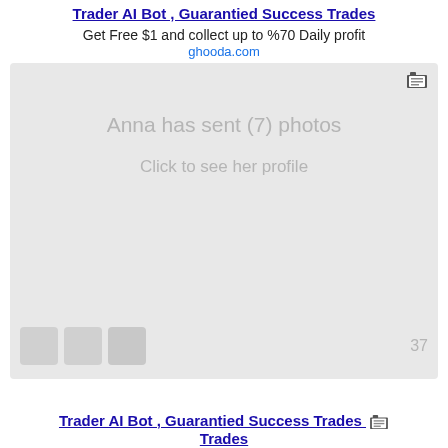Trader AI Bot , Guarantied Success Trades
Get Free $1 and collect up to %70 Daily profit
ghooda.com
[Figure (screenshot): Blurred/redacted screenshot of a social media or messaging interface showing 'Anna has sent (7) photos' and 'Click to see her profile' with blurred profile images and notification count. Contains a small table/grid icon in top right.]
Trader AI Bot , Guarantied Success Trades